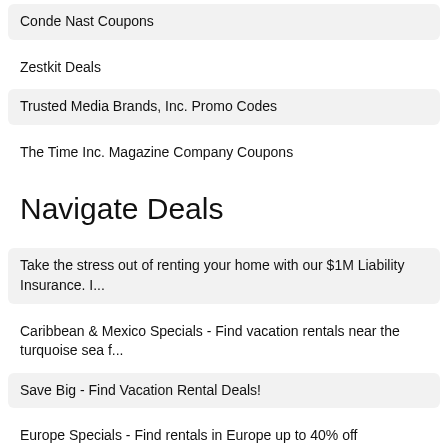Conde Nast Coupons
Zestkit Deals
Trusted Media Brands, Inc. Promo Codes
The Time Inc. Magazine Company Coupons
Navigate Deals
Take the stress out of renting your home with our $1M Liability Insurance. I...
Caribbean & Mexico Specials - Find vacation rentals near the turquoise sea f...
Save Big - Find Vacation Rental Deals!
Europe Specials - Find rentals in Europe up to 40% off
USA Specials - Stay stateside and find vacation rentals for as low as $100/n...
List your vacation rental on HomeAway for $329 for 12 months...